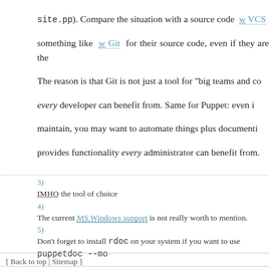site.pp). Compare the situation with a source code w VCS something like w Git for their source code, even if they are the... The reason is that Git is not just a tool for "big teams and co... every developer can benefit from. Same for Puppet: even if... maintain, you may want to automate things plus documenti... provides functionality every administrator can benefit from.
3)
IMHO the tool of choice
4)
The current MS Windows support is not really worth to mention.
5)
Don't forget to install rdoc on your system if you want to use puppetdoc --mo...
3 Comments | 2012-02-05 written by Andreas Haerte... Tags: links, planet-fedora, planet-puppet,
[ Back to top | Sitemap ]